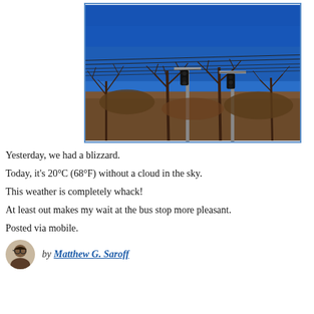[Figure (photo): Outdoor photo showing a clear deep blue sky with bare winter trees and utility poles with power lines and traffic signals in the foreground.]
Yesterday, we had a blizzard.
Today, it’s 20°C (68°F) without a cloud in the sky.
This weather is completely whack!
At least out makes my wait at the bus stop more pleasant.
Posted via mobile.
by Matthew G. Saroff